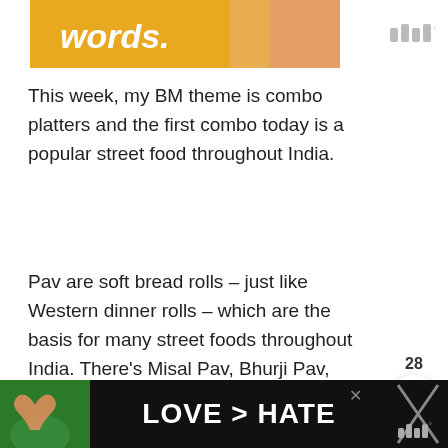[Figure (other): Top advertisement banner with golden/orange background and 'words.' text in bold italic white, with pink accent on right side]
This week, my BM theme is combo platters and the first combo today is a popular street food throughout India.
Pav are soft bread rolls – just like Western dinner rolls – which are the basis for many street foods throughout India. There's Misal Pav, Bhurji Pav, Masala Pav and Vada Pav, just to name a few. However, Pav Bhaji is probably the most popular one. Originating in Mumbai, it is now available in most metropolitan areas in India.
[Figure (other): Social media sidebar with like count 28, heart icon in white circle, teal search icon circle, white heart circle, and pink/red share icon circle]
[Figure (other): Bottom advertisement banner with dark background showing hands forming heart shape, text 'LOVE > HATE' in bold white, close button X, and wordmark logo]